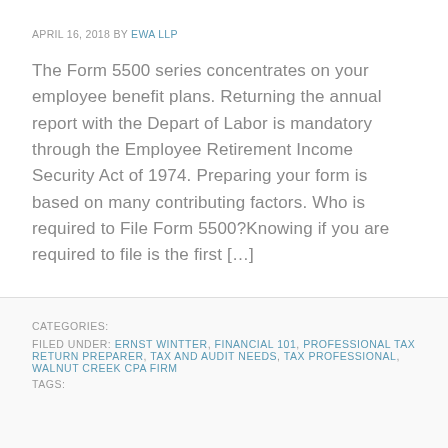APRIL 16, 2018 BY EWA LLP
The Form 5500 series concentrates on your employee benefit plans. Returning the annual report with the Depart of Labor is mandatory through the Employee Retirement Income Security Act of 1974. Preparing your form is based on many contributing factors. Who is required to File Form 5500?Knowing if you are required to file is the first […]
CATEGORIES:
FILED UNDER: ERNST WINTTER, FINANCIAL 101, PROFESSIONAL TAX RETURN PREPARER, TAX AND AUDIT NEEDS, TAX PROFESSIONAL, WALNUT CREEK CPA FIRM
TAGS: